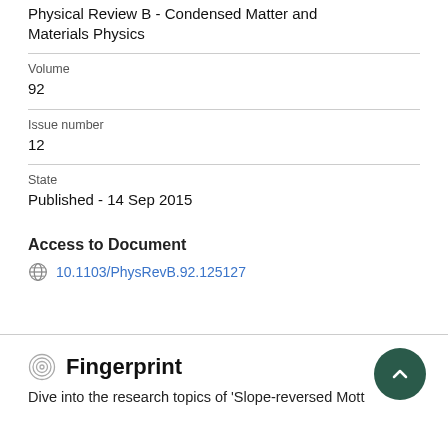Physical Review B - Condensed Matter and Materials Physics
Volume
92
Issue number
12
State
Published - 14 Sep 2015
Access to Document
10.1103/PhysRevB.92.125127
Fingerprint
Dive into the research topics of 'Slope-reversed Mott